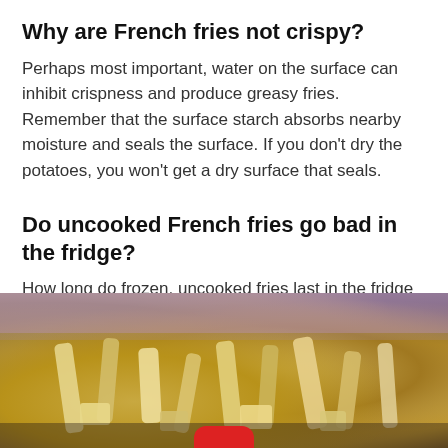Why are French fries not crispy?
Perhaps most important, water on the surface can inhibit crispness and produce greasy fries. Remember that the surface starch absorbs nearby moisture and seals the surface. If you don't dry the potatoes, you won't get a dry surface that seals.
Do uncooked French fries go bad in the fridge?
How long do frozen, uncooked fries last in the fridge ? If you decide to remove frozen fries from the freezer and put thawed and defrosted french fries in the refrigerator, you can keep them there for 2 to 5 days.
[Figure (photo): Photo of uncooked french fries in a clear plastic zip-lock bag, showing pale yellow/white cut potato pieces with a purple/pink bag edge visible at the top. A red button/overlay is partially visible at the bottom center.]